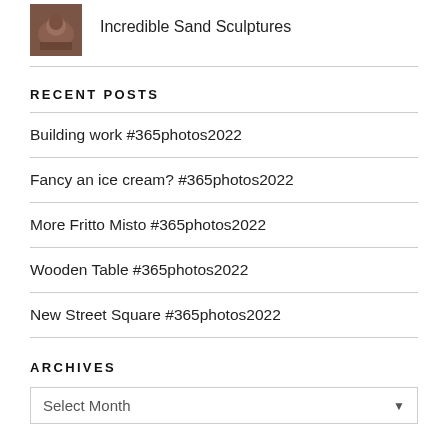[Figure (photo): Small thumbnail image of a sand sculpture, brownish tones]
Incredible Sand Sculptures
RECENT POSTS
Building work #365photos2022
Fancy an ice cream? #365photos2022
More Fritto Misto #365photos2022
Wooden Table #365photos2022
New Street Square #365photos2022
ARCHIVES
Select Month